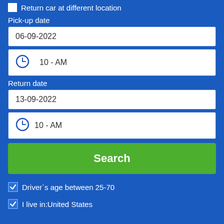Return car at different location
Pick-up date
06-09-2022
10 - AM
Return date
13-09-2022
10 - AM
Search
Driver`s age between 25-70
I live in:United States